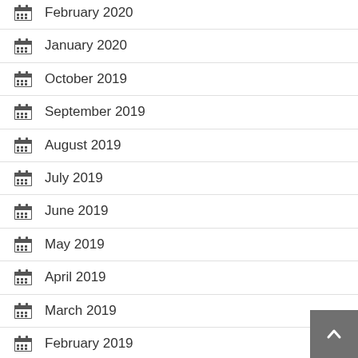February 2020
January 2020
October 2019
September 2019
August 2019
July 2019
June 2019
May 2019
April 2019
March 2019
February 2019
November 2018
October 2018
September 2018